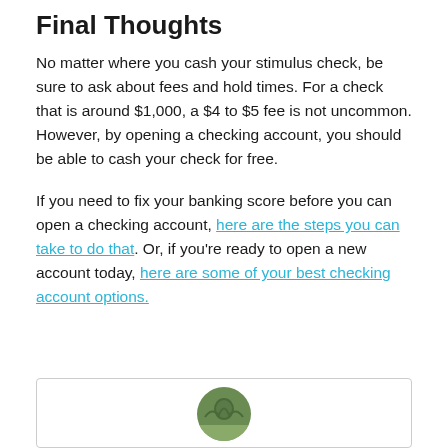Final Thoughts
No matter where you cash your stimulus check, be sure to ask about fees and hold times. For a check that is around $1,000, a $4 to $5 fee is not uncommon. However, by opening a checking account, you should be able to cash your check for free.
If you need to fix your banking score before you can open a checking account, here are the steps you can take to do that. Or, if you're ready to open a new account today, here are some of your best checking account options.
[Figure (photo): Author photo — circular portrait image partially visible at bottom of page]